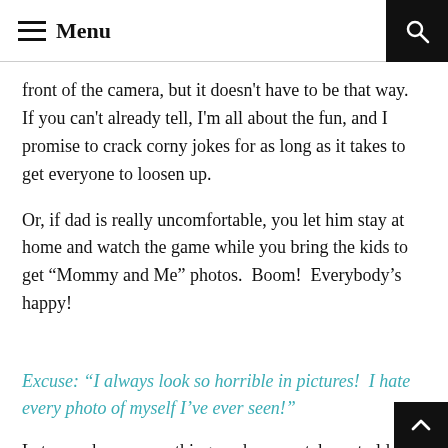Menu
front of the camera, but it doesn't have to be that way.  If you can't already tell, I'm all about the fun, and I promise to crack corny jokes for as long as it takes to get everyone to loosen up.
Or, if dad is really uncomfortable, you let him stay at home and watch the game while you bring the kids to get “Mommy and Me” photos.  Boom!  Everybody’s happy!
Excuse: “I always look so horrible in pictures!  I hate every photo of myself I’ve ever seen!”
Let me ask you something – when you take out old famil...